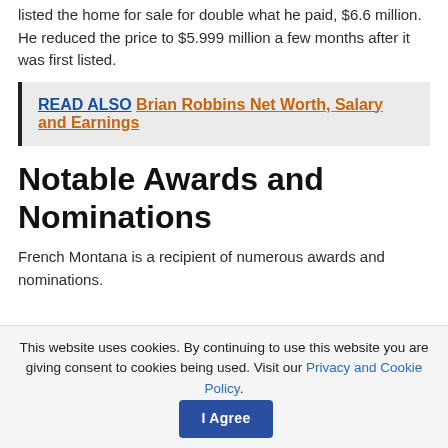listed the home for sale for double what he paid, $6.6 million. He reduced the price to $5.999 million a few months after it was first listed.
READ ALSO  Brian Robbins Net Worth, Salary and Earnings
Notable Awards and Nominations
French Montana is a recipient of numerous awards and nominations.
This website uses cookies. By continuing to use this website you are giving consent to cookies being used. Visit our Privacy and Cookie Policy.  I Agree